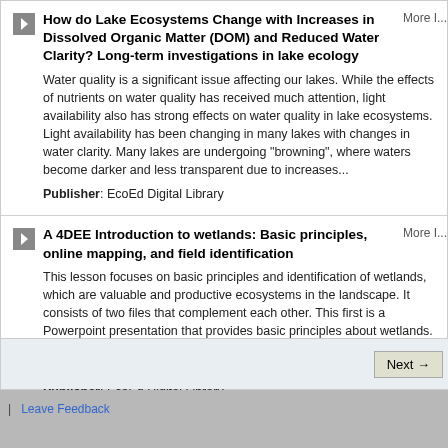How do Lake Ecosystems Change with Increases in Dissolved Organic Matter (DOM) and Reduced Water Clarity? Long-term investigations in lake ecology
Water quality is a significant issue affecting our lakes. While the effects of nutrients on water quality has received much attention, light availability also has strong effects on water quality in lake ecosystems. Light availability has been changing in many lakes with changes in water clarity. Many lakes are undergoing "browning", where waters become darker and less transparent due to increases...
Publisher: EcoEd Digital Library
A 4DEE Introduction to wetlands: Basic principles, online mapping, and field identification
This lesson focuses on basic principles and identification of wetlands, which are valuable and productive ecosystems in the landscape. It consists of two files that complement each other. This first is a Powerpoint presentation that provides basic principles about wetlands. The second is a set instructions for a laboratory in which students learn how to locate wetlands using online mapping,...
Publisher: EcoEd Digital Library
| Leave Feedback